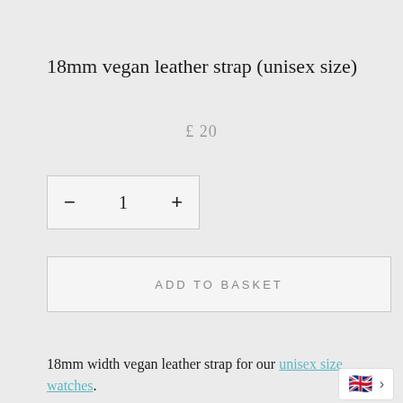18mm vegan leather strap (unisex size)
£ 20
— 1 +
ADD TO BASKET
18mm width vegan leather strap for our unisex size watches.